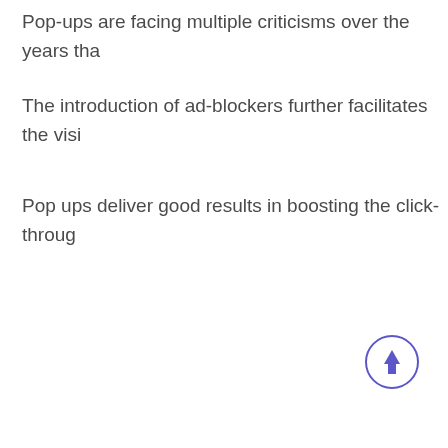Pop-ups are facing multiple criticisms over the years tha…
The introduction of ad-blockers further facilitates the visi…
Pop ups deliver good results in boosting the click-throug…
[Figure (illustration): A circular button with an upward-pointing arrow icon in purple/indigo color, used as a scroll-to-top button.]